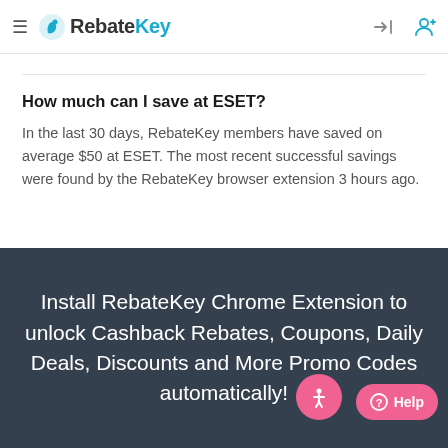RebateKey
How much can I save at ESET?
In the last 30 days, RebateKey members have saved on average $50 at ESET. The most recent successful savings were found by the RebateKey browser extension 3 hours ago.
Install RebateKey Chrome Extension to unlock Cashback Rebates, Coupons, Daily Deals, Discounts and More Promo Codes automatically!